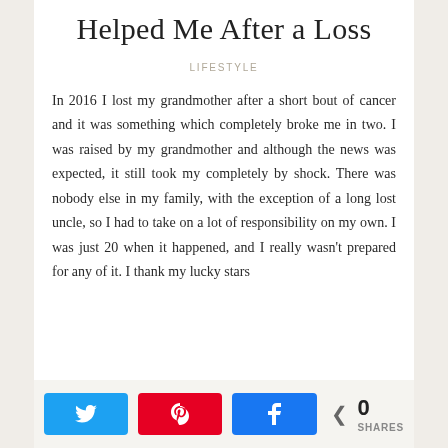Helped Me After a Loss
LIFESTYLE
In 2016 I lost my grandmother after a short bout of cancer and it was something which completely broke me in two. I was raised by my grandmother and although the news was expected, it still took my completely by shock. There was nobody else in my family, with the exception of a long lost uncle, so I had to take on a lot of responsibility on my own. I was just 20 when it happened, and I really wasn't prepared for any of it. I thank my lucky stars
[Figure (other): Social share buttons: Twitter (blue), Pinterest (red), Facebook (blue), and a share count showing 0 SHARES]